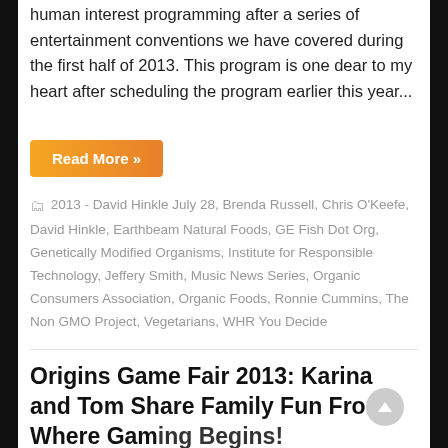human interest programming after a series of entertainment conventions we have covered during the first half of 2013. This program is one dear to my heart after scheduling the program earlier this year...
Read More »
2013 - David Hinkle July 28, Brenda Russell, Chris O'Keefe, David Hinkle, Earthbeam Natural Foods, GE Fish Dot Org, Genetically Modified Organisms, Institute for Responsible Technology, Jeffery Smith, Music News Series, Organic Consumers Association, Organic Foods, Ronnie Cummins, The Non GMO Project, Vegetarians, WHR You Decide
Origins Game Fair 2013: Karina and Tom Share Family Fun From Where Gaming Begins!